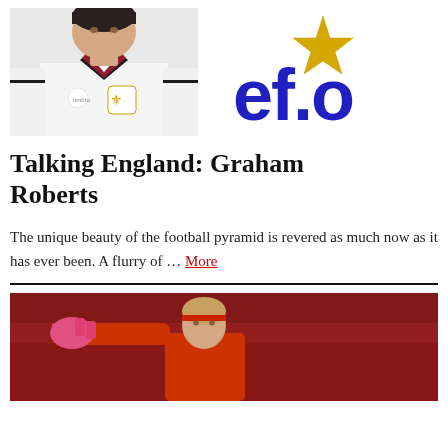[Figure (photo): England footballer in white England shirt with Umbro logo and Three Lions badge on chest, cropped portrait]
[Figure (logo): ef.o logo: blue lowercase letters 'ef.o' with a gold/yellow star above, on white background]
Talking England: Graham Roberts
The unique beauty of the football pyramid is revered as much now as it has ever been. A flurry of … More
[Figure (photo): Female goalkeeper in red background, wearing pink/red gloves, arm outstretched, with red headband, partially cropped at bottom of page]